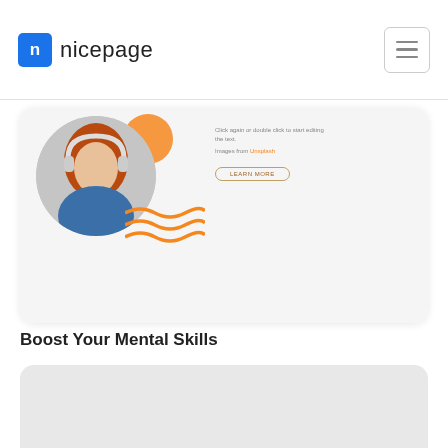nicepage
[Figure (screenshot): Nicepage website builder UI card showing a woman with headphones and backpack, orange decorative elements, and a Learn More button]
Boost Your Mental Skills
[Figure (other): Gray placeholder card for second course item]
Learn Job-Ready Skills
[Figure (other): Gray placeholder card for third course item, partially visible]